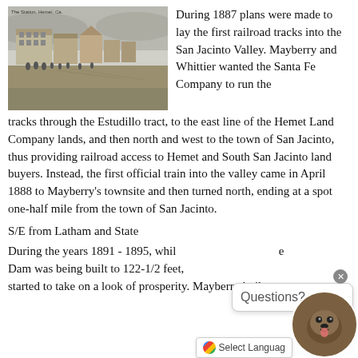[Figure (photo): Black and white historical photograph of The Station, Hemet, CA showing a street scene with buildings and people. Caption reads 'The Station, Hemet, Ca.' at top.]
During 1887 plans were made to lay the first railroad tracks into the San Jacinto Valley. Mayberry and Whittier wanted the Santa Fe Company to run the tracks through the Estudillo tract, to the east line of the Hemet Land Company lands, and then north and west to the town of San Jacinto, thus providing railroad access to Hemet and South San Jacinto land buyers. Instead, the first official train into the valley came in April 1888 to Mayberry's townsite and then turned north, ending at a spot one-half mile from the town of San Jacinto.
S/E from Latham and State
During the years 1891 - 1895, while Hemet Dam was being built to 122-1/2 feet, the town of Hemet started to take on a look of prosperity. Mayberry built